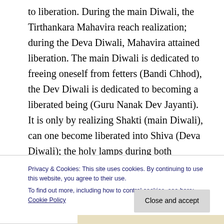to liberation. During the main Diwali, the Tirthankara Mahavira reach realization; during the Deva Diwali, Mahavira attained liberation. The main Diwali is dedicated to freeing oneself from fetters (Bandi Chhod), the Dev Diwali is dedicated to becoming a liberated being (Guru Nanak Dev Jayanti). It is only by realizing Shakti (main Diwali), can one become liberated into Shiva (Deva Diwali); the holy lamps during both festivals are but a capture of the resplendence of realization and liberation into Paramashiva, the Divine Ultimate.
Privacy & Cookies: This site uses cookies. By continuing to use this website, you agree to their use.
To find out more, including how to control cookies, see here: Cookie Policy